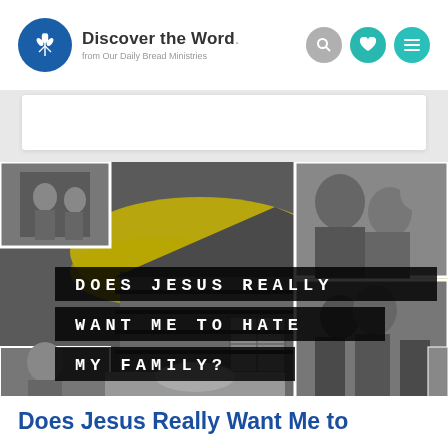Discover the Word. from Our Daily Bread Ministries
[Figure (photo): Composite hero image with black-and-white photos of people and a house, overlaid with yellow paint strokes and bold white text reading 'DOES JESUS REALLY WANT ME TO HATE MY FAMILY?' on dark banner strips]
Does Jesus Really Want Me to